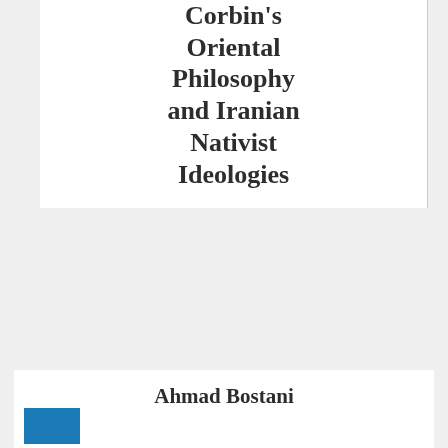Corbin's Oriental Philosophy and Iranian Nativist Ideologies
Ahmad Bostani
Henry Corbin's Oriental Philosophy and Iranian Nativist Ideologies
Religions 2021, 12(11), 997
[Figure (logo): Blue logo with white crescent/moon shape on blue background]